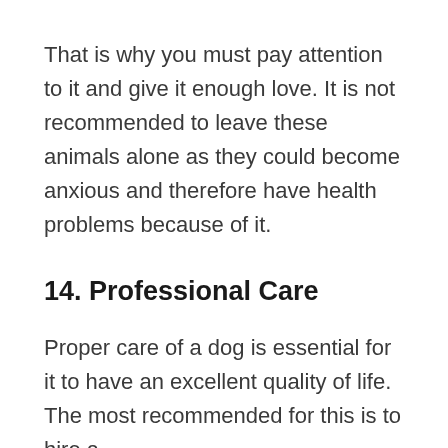That is why you must pay attention to it and give it enough love. It is not recommended to leave these animals alone as they could become anxious and therefore have health problems because of it.
14. Professional Care
Proper care of a dog is essential for it to have an excellent quality of life. The most recommended for this is to hire a